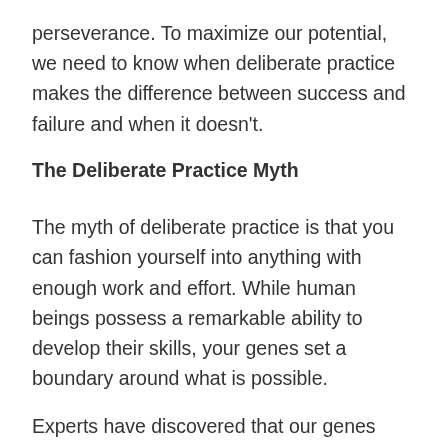perseverance. To maximize our potential, we need to know when deliberate practice makes the difference between success and failure and when it doesn't.
The Deliberate Practice Myth
The myth of deliberate practice is that you can fashion yourself into anything with enough work and effort. While human beings possess a remarkable ability to develop their skills, your genes set a boundary around what is possible.
Experts have discovered that our genes impact nearly every human trait including short-term memory to mental processing speed to willingness to practice. Some researchers have estimated that our genes